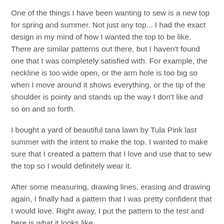One of the things I have been wanting to sew is a new top for spring and summer. Not just any top... I had the exact design in my mind of how I wanted the top to be like. There are similar patterns out there, but I haven't found one that I was completely satisfied with. For example, the neckline is too wide open, or the arm hole is too big so when I move around it shows everything, or the tip of the shoulder is pointy and stands up the way I don't like and so on and so forth.
I bought a yard of beautiful tana lawn by Tula Pink last summer with the intent to make the top. I wanted to make sure that I created a pattern that I love and use that to sew the top so I would definitely wear it.
After some measuring, drawing lines, erasing and drawing again, I finally had a pattern that I was pretty confident that I would love. Right away, I put the pattern to the test and here is what it looks like...
[Figure (photo): Photo of a person (face partially visible) wearing a top, showing the result of the sewn pattern. The top portion of the image is shown, cropped at the bottom.]